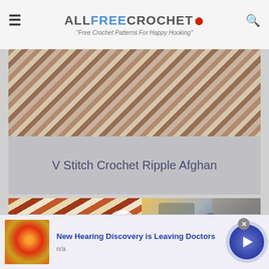ALLFREECROCHET • "Free Crochet Patterns For Happy Hooking"
[Figure (photo): V Stitch Crochet Ripple Afghan — featured card with woven/ripple textile image and title overlay]
V Stitch Crochet Ripple Afghan
[Figure (photo): Left thumbnail: Zig Zag Classic Ripple Afghan crochet pattern with orange/white chevron textile]
Zig Zag Classic Ripple Afghan
[Figure (photo): Right thumbnail: video thumbnail of woman in craft studio with play button overlay and video controls. Blanket label below.]
Blanket
[Figure (photo): Ad banner with anatomical ear illustration, headline 'New Hearing Discovery is Leaving Doctors', subtext 'n/a', close button, and arrow CTA button]
New Hearing Discovery is Leaving Doctors
n/a